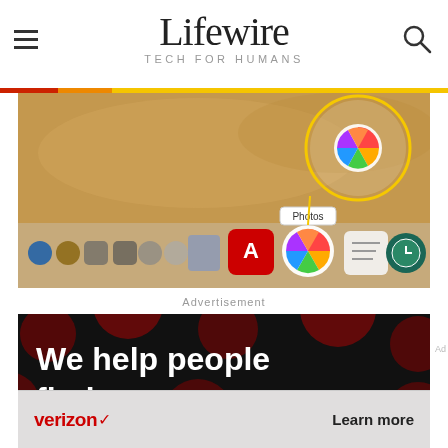Lifewire TECH FOR HUMANS
[Figure (screenshot): Mac OS X Dock showing various application icons including Photos app highlighted with a circular callout]
Advertisement
[Figure (photo): Advertisement with dark background with red polka dots and white bold text reading 'We help people find answers, solve problems and get inspired']
[Figure (screenshot): Verizon advertisement bottom bar with Verizon logo and Learn more text]